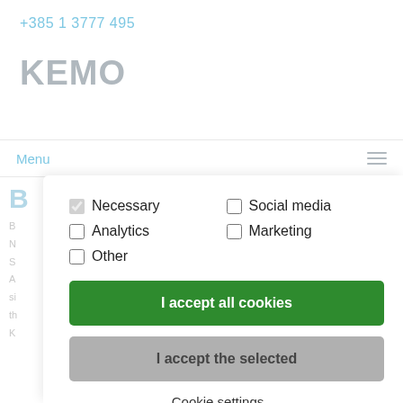+385 1 3777 495
KEMO
Menu
[Figure (screenshot): Cookie consent dialog with checkboxes for Necessary (checked), Analytics, Other, Social media, Marketing; buttons: I accept all cookies (green), I accept the selected (gray), Cookie settings link, I do not accept (gray)]